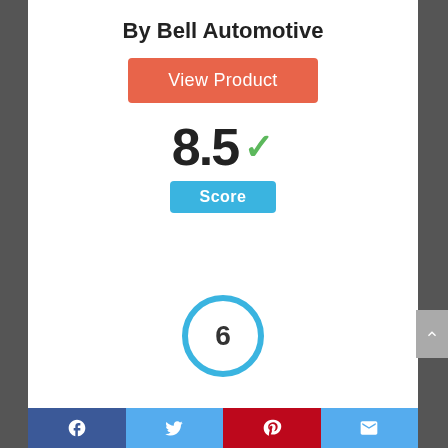By Bell Automotive
View Product
8.5 ✓
Score
[Figure (infographic): Circle badge with number 6 inside, outlined in blue]
Facebook | Twitter | Pinterest | Email social share bar